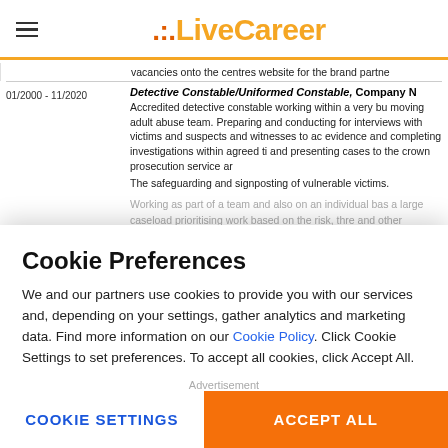LiveCareer
vacancies onto the centres website for the brand partne
01/2000 - 11/2020   Detective Constable/Uniformed Constable, Company N
Accredited detective constable working within a very bu moving adult abuse team. Preparing and conducting for interviews with victims and suspects and witnesses to ac evidence and completing investigations within agreed ti and presenting cases to the crown prosecution service ar
The safeguarding and signposting of vulnerable victims.
Working as part of a team and also on an individual bas a large caseload prioritising work based on the risk, thre and other relevant factors.
Using the internal police systems and microsoft wo
Presented evidence in all murt settings.
Leading and being part of accredited coercion roles
Familiarity with policing in two very busy and di and online miles.
Cookie Preferences
We and our partners use cookies to provide you with our services and, depending on your settings, gather analytics and marketing data. Find more information on our Cookie Policy. Click Cookie Settings to set preferences. To accept all cookies, click Accept All.
Advertisement
COOKIE SETTINGS
ACCEPT ALL